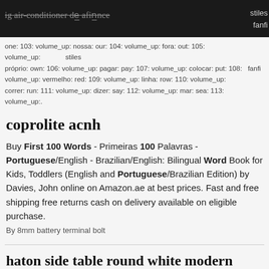ig air conditioner de...
one: 103: volume_up: nossa: our: 104: volume_up: fora: out: 105: volume_up: próprio: own: 106: volume_up: pagar: pay: 107: volume_up: colocar: put: 108: volume_up: vermelho: red: 109: volume_up: linha: row: 110: volume_up: correr: run: 111: volume_up: dizer: say: 112: volume_up: mar: sea: 113: volume_up:.
coprolite acnh
Buy First 100 Words - Primeiras 100 Palavras - Portuguese/English - Brazilian/English: Bilingual Word Book for Kids, Toddlers (English and Portuguese/Brazilian Edition) by Davies, John online on Amazon.ae at best prices. Fast and free shipping free returns cash on delivery available on eligible purchase.
By 8mm battery terminal bolt
haton side table round white modern home
dictionary of spanish core vocabulary for. improve your vocabulary for sat gre esl toefl ielts. english vocabulary list with pdf englishfornoobs. first 1000 words 5 000 most mon russian words more. learn english from portugus portuguese clozemaster. 100